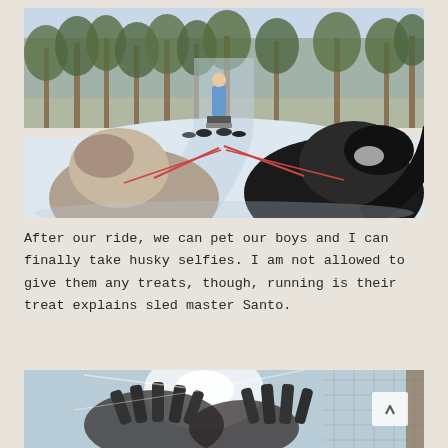[Figure (photo): Dog sledding scene viewed from behind a sled. Several huskies are pulling a sled through a snowy forest trail. A person in a blue jacket stands on the sled ahead. Pine trees line the background under a bright winter sky.]
After our ride, we can pet our boys and I can finally take husky selfies. I am not allowed to give them any treats, though, running is their treat explains sled master Santo.
[Figure (photo): A person taking a selfie outdoors in winter, with sunlight flaring through their hands. A wire fence and trees are visible in the background. A white scroll-up button is overlaid in the upper right.]